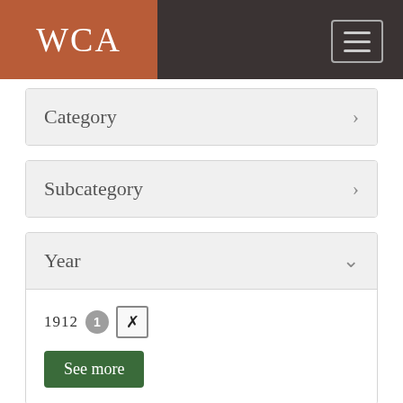WCA
Category
Subcategory
Year
1912  [1] [x]
See more
People
Cather, Charles Douglas (Douglass)  [1] [x]
McClure, Harriet Sophia Hurd (Hattie)  [1]